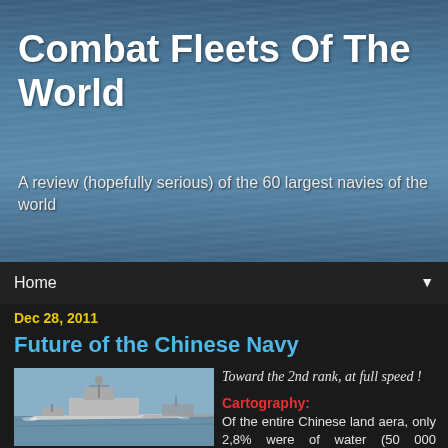Combat Fleets Of The World
A review (hopefully serious) of the 60 largest navies of the world
Home
Dec 28, 2011
Future of the Chinese Navy
[Figure (photo): Chinese naval warships at sea, multiple vessels in formation]
Toward the 2nd rank, at full speed !
Cartography: Of the entire Chinese land aera, only 2,8% were of water (50 000 Rivers/Lakes).